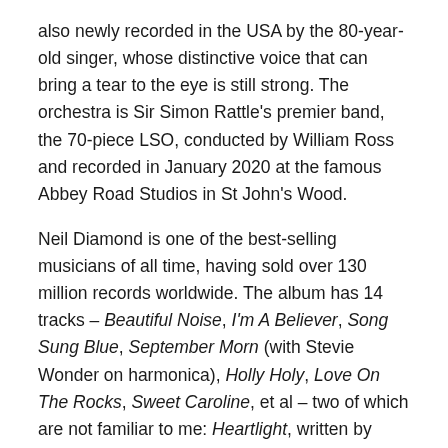also newly recorded in the USA by the 80-year-old singer, whose distinctive voice that can bring a tear to the eye is still strong. The orchestra is Sir Simon Rattle's premier band, the 70-piece LSO, conducted by William Ross and recorded in January 2020 at the famous Abbey Road Studios in St John's Wood.
Neil Diamond is one of the best-selling musicians of all time, having sold over 130 million records worldwide. The album has 14 tracks – Beautiful Noise, I'm A Believer, Song Sung Blue, September Morn (with Stevie Wonder on harmonica), Holly Holy, Love On The Rocks, Sweet Caroline, et al – two of which are not familiar to me: Heartlight, written by Diamond (as are all the tracks) with Burt Bacharach and Carole Bayer Sager, and I've been this way before, given what is described as a hymnal-like treatment. The arrangements are by the album's producer Walter Afanasieff and the conductor, who is a prolific American award-winner.